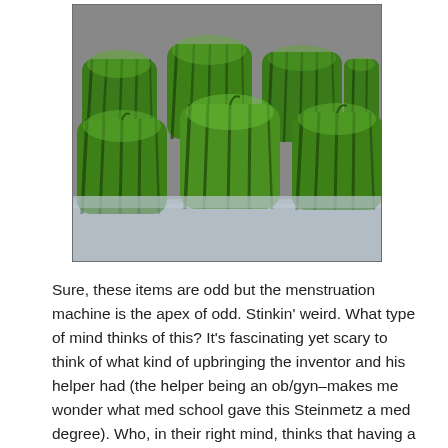[Figure (photo): A group of square/cube-shaped watermelons with dark green stripes, sitting on a reflective surface. The watermelons have been grown in cube molds giving them a boxy, squared-off shape.]
Sure, these items are odd but the menstruation machine is the apex of odd. Stinkin' weird. What type of mind thinks of this? It's fascinating yet scary to think of what kind of upbringing the inventor and his helper had (the helper being an ob/gyn–makes me wonder what med school gave this Steinmetz a med degree). Who, in their right mind, thinks that having a period would be something worth experiencing? Why would anyone who doesn't have the proper plumbing, want to go through the cramping, the bitchiness, the flow, from hell, the